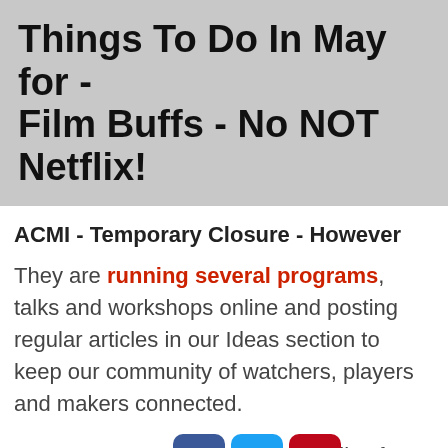Things To Do In May for - Film Buffs - No NOT Netflix!
ACMI - Temporary Closure - However
They are running several programs, talks and workshops online and posting regular articles in our Ideas section to keep our community of watchers, players and makers connected.
Every Tue ... ils of their wee ... ue via
[Figure (infographic): Social media share buttons: Facebook, Twitter, Pinterest (top row); Tumblr, Reddit, WhatsApp, Messenger (bottom row), with Share label and Top button]